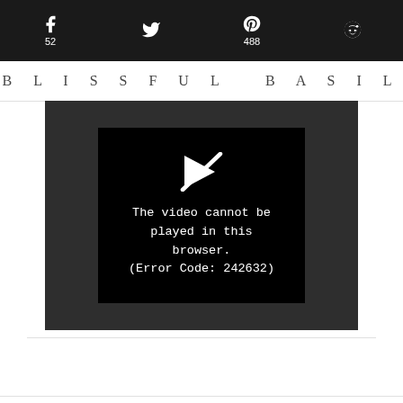Social share bar: Facebook 52, Twitter, Pinterest 488, Reddit
BLISSFUL BASIL
[Figure (screenshot): Video player showing error: 'The video cannot be played in this browser. (Error Code: 242632)' with a crossed-out play button icon on a black background, within a dark gray video container.]